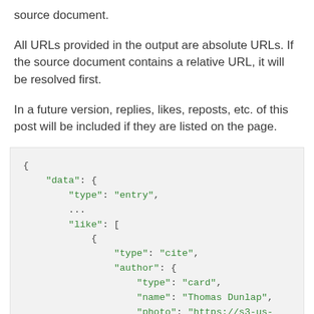source document.
All URLs provided in the output are absolute URLs. If the source document contains a relative URL, it will be resolved first.
In a future version, replies, likes, reposts, etc. of this post will be included if they are listed on the page.
[Figure (screenshot): JSON code block showing data structure with keys: data, type (entry), like array containing object with type (cite), author with type (card), name (Thomas Dunlap), photo (https://s3-us-west-2.a...)]